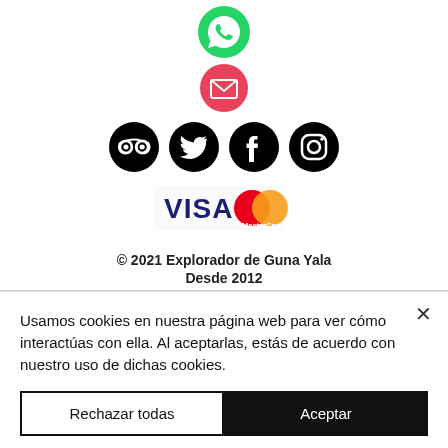[Figure (illustration): WhatsApp green icon (phone in speech bubble)]
[Figure (illustration): Email/envelope pink/red circle icon]
[Figure (illustration): Row of social media icons: TripAdvisor (owl), Twitter (bird), Facebook (f), Instagram (camera) — all black circles]
[Figure (illustration): Visa and MasterCard payment logos]
© 2021 Explorador de Guna Yala
Desde 2012
Usamos cookies en nuestra página web para ver cómo interactúas con ella. Al aceptarlas, estás de acuerdo con nuestro uso de dichas cookies.
Rechazar todas
Aceptar
Opciones